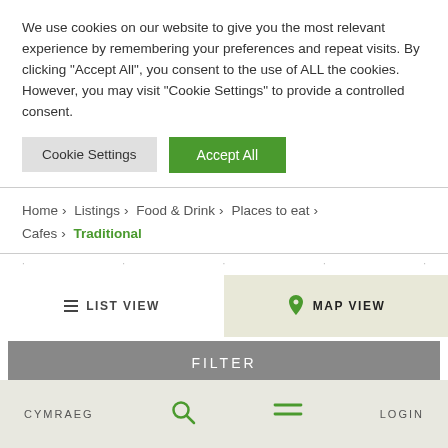We use cookies on our website to give you the most relevant experience by remembering your preferences and repeat visits. By clicking "Accept All", you consent to the use of ALL the cookies. However, you may visit "Cookie Settings" to provide a controlled consent.
Cookie Settings | Accept All
Home > Listings > Food & Drink > Places to eat > Cafes > Traditional
LIST VIEW
MAP VIEW
FILTER
CYMRAEG | [search icon] | [menu icon] | LOGIN